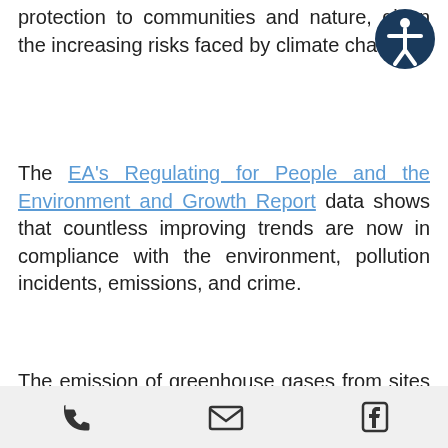protection to communities and nature, given the increasing risks faced by climate change.
The EA's Regulating for People and the Environment and Growth Report data shows that countless improving trends are now in compliance with the environment, pollution incidents, emissions, and crime.
The emission of greenhouse gases from sites regulated under the Environmental Permitting Regulations has significantly decreased by 50% since 2010. Furthermore, methane emissions
Phone | Email | Facebook